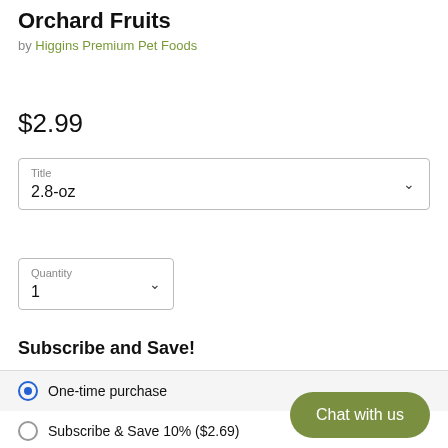Orchard Fruits
by Higgins Premium Pet Foods
$2.99
Title
2.8-oz
Quantity
1
Subscribe and Save!
One-time purchase
Subscribe & Save 10% ($2.69)